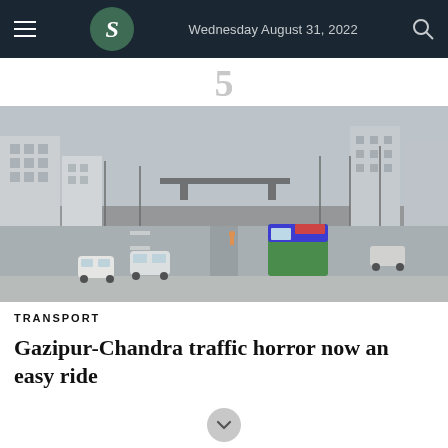Wednesday August 31, 2022
5
[Figure (photo): A wide urban road in Gazipur-Chandra area showing traffic with buses, cars, an overpass footbridge in the background, and city buildings on both sides under a hazy sky.]
TRANSPORT
Gazipur-Chandra traffic horror now an easy ride